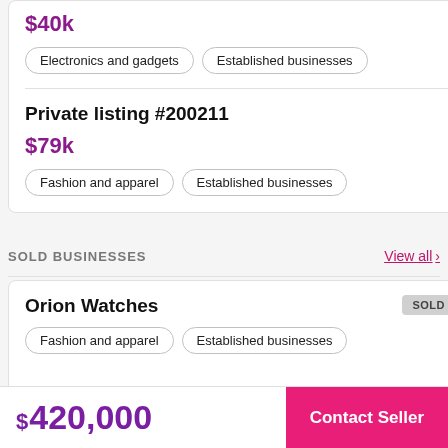$40k
Electronics and gadgets
Established businesses
Private listing #200211
$79k
Fashion and apparel
Established businesses
SOLD BUSINESSES
View all
Orion Watches
Fashion and apparel
Established businesses
$420,000
Contact Seller